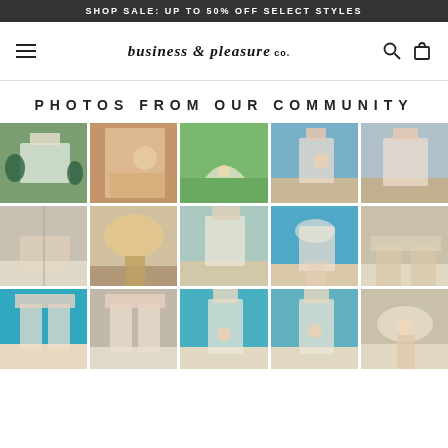SHOP SALE: UP TO 50% OFF SELECT STYLES
[Figure (logo): Business & Pleasure Co. logo with hamburger menu, search icon, and cart icon]
PHOTOS FROM OUR COMMUNITY
[Figure (photo): Grid of 15 community photos showing beach cabanas, umbrellas, hammocks, and outdoor leisure products in pastel tones. 5 columns x 3 rows.]